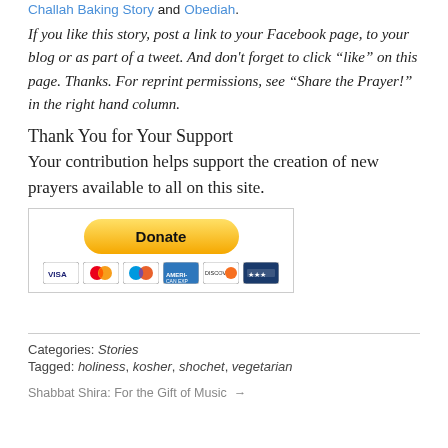Challah Baking Story and Obediah.
If you like this story, post a link to your Facebook page, to your blog or as part of a tweet. And don't forget to click "like" on this page. Thanks. For reprint permissions, see "Share the Prayer!" in the right hand column.
Thank You for Your Support
Your contribution helps support the creation of new prayers available to all on this site.
[Figure (other): PayPal Donate button with credit card icons (VISA, Mastercard, Discover, American Express, and others) inside a bordered box.]
Categories: Stories
Tagged: holiness, kosher, shochet, vegetarian
Shabbat Shira: For the Gift of Music →